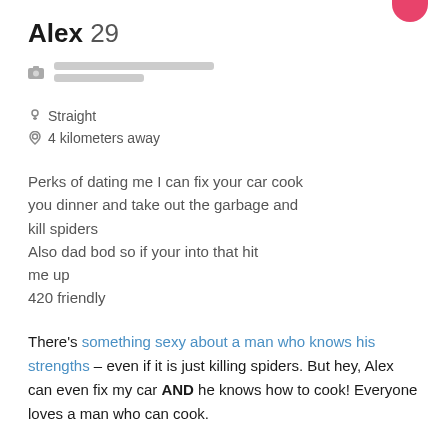Alex 29
Straight
4 kilometers away
Perks of dating me I can fix your car cook you dinner and take out the garbage and kill spiders
Also dad bod so if your into that hit me up
420 friendly
There’s something sexy about a man who knows his strengths – even if it is just killing spiders. But hey, Alex can even fix my car AND he knows how to cook! Everyone loves a man who can cook.